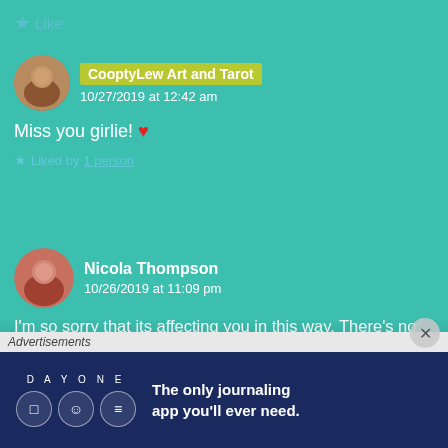Like
CooptyLew Art and Tarot
10/27/2019 at 12:42 am
Miss you girlie! ❤
Liked by 1 person
Nicola Thompson
10/26/2019 at 11:09 pm
I'm so sorry that its affecting you in this way. There's no wrong way to grieve, and it's all part of the process. However, I am excited for your projects! I love your
Advertisements
[Figure (infographic): Day One journaling app advertisement: logo with D A Y O N E text, three circular icons, tagline 'The only journaling app you'll ever need.']